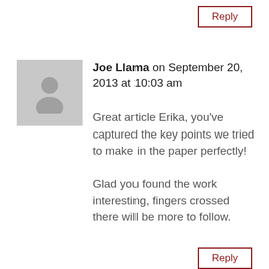Reply
[Figure (illustration): Grey placeholder avatar showing a silhouette of a person (head and shoulders)]
Joe Llama on September 20, 2013 at 10:03 am
Great article Erika, you've captured the key points we tried to make in the paper perfectly!

Glad you found the work interesting, fingers crossed there will be more to follow.
Reply